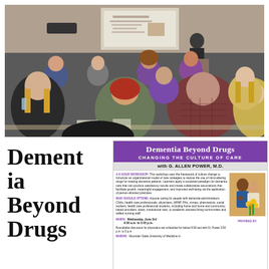[Figure (photo): A conference room scene with attendees seated at tables listening to a presenter at the front near a projection screen. The presenter stands at a podium, and participants (many wearing purple/magenta tops) are seen from behind.]
Dementia Beyond Drugs
[Figure (infographic): Event flyer for 'Dementia Beyond Drugs - Changing the Culture of Care' with G. Allen Power, M.D. Purple header, description of 6-hour workshop, who should attend, when (Wednesday June 3rd, 9:30 a.m. to 3:45 p.m.), where (Mountain State University), and a photo of two people with flowers.]